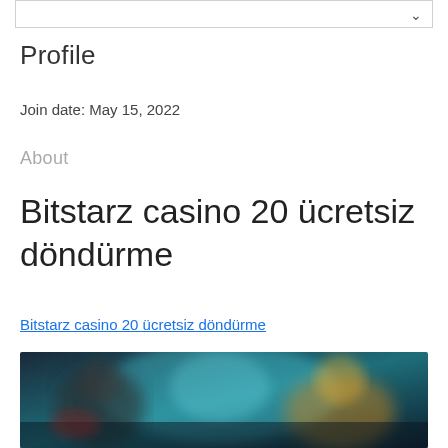Profile
Join date: May 15, 2022
About
Bitstarz casino 20 ücretsiz döndürme
Bitstarz casino 20 ücretsiz döndürme
[Figure (screenshot): Blurred casino game screenshot with colorful characters and dark background]